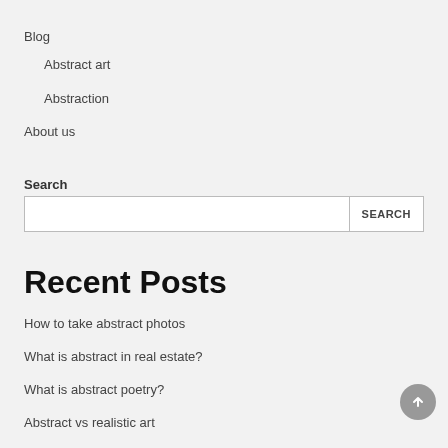Blog
Abstract art
Abstraction
About us
Search
Recent Posts
How to take abstract photos
What is abstract in real estate?
What is abstract poetry?
Abstract vs realistic art